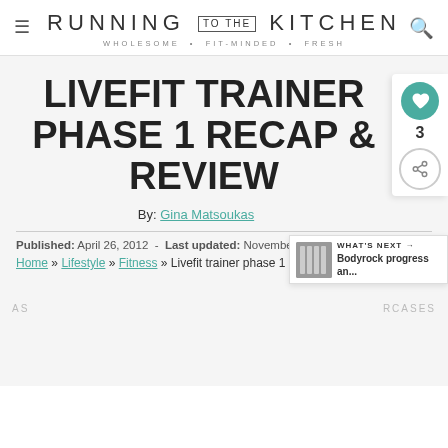RUNNING TO THE KITCHEN — WHOLESOME • FIT-MINDED • FRESH
LIVEFIT TRAINER PHASE 1 RECAP & REVIEW
By: Gina Matsoukas
Published: April 26, 2012 - Last updated: November 7, 2016
Home » Lifestyle » Fitness » Livefit trainer phase 1 recap & review